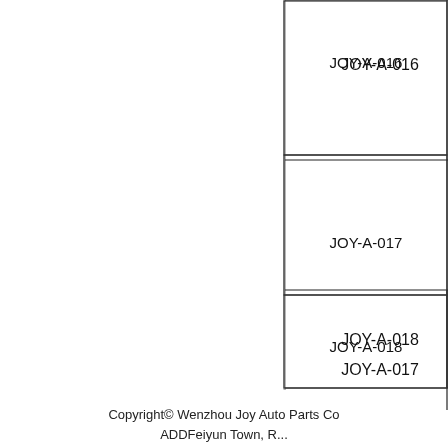[Figure (organizational-chart): Partial organizational/parts chart showing three entries: JOY-A-016 (top right cell), JOY-A-017 (middle right cell), JOY-A-018 (bottom right cell). A vertical line runs down the left side of the right column, with horizontal lines separating the three cells. The left portion of the page is blank white.]
Copyright© ーWenzhou Joy Auto Parts Co. ADDーFeiyun Town, R...